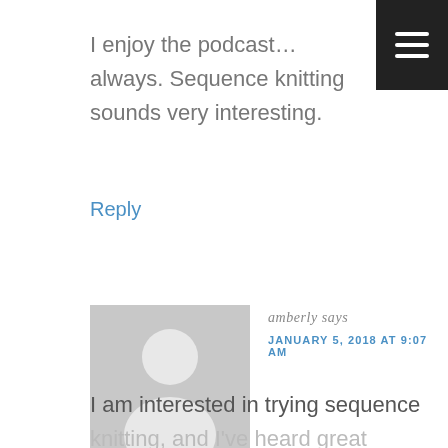I enjoy the podcast…always. Sequence knitting sounds very interesting.
Reply
[Figure (illustration): Default user avatar placeholder — grey square with white silhouette of a person (circle head, rounded shoulders)]
amberly says
JANUARY 5, 2018 AT 9:07 AM
I am interested in trying sequence knitting, and I've heard great things